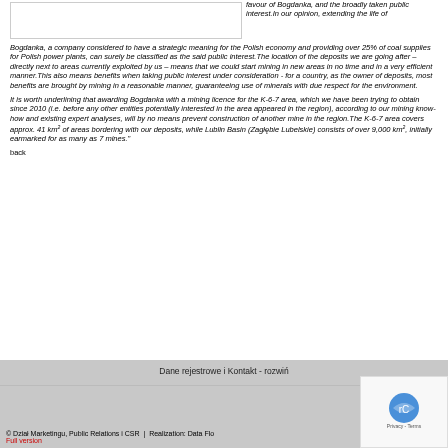[Figure (photo): Image placeholder box (partially visible at top left)]
favour of Bogdanka, and the broadly taken public interest.In our opinion, extending the life of Bogdanka, a company considered to have a strategic meaning for the Polish economy and providing over 25% of coal supplies for Polish power plants, can surely be classified as the said public interest.The location of the deposits we are going after – directly next to areas currently exploited by us – means that we could start mining in new areas in no time and in a very efficient manner.This also means benefits when taking public interest under consideration - for a country, as the owner of deposits, most benefits are brought by mining in a reasonable manner, guaranteeing use of minerals with due respect for the environment.
It is worth underlining that awarding Bogdanka with a mining licence for the K-6-7 area, which we have been trying to obtain since 2010 (i.e. before any other entities potentially interested in the area appeared in the region), according to our mining know-how and existing expert analyses, will by no means prevent construction of another mine in the region.The K-6-7 area covers approx. 41 km2 of areas bordering with our deposits, while Lublin Basin (Zagłębie Lubelskie) consists of over 9,000 km2, initially earmarked for as many as 7 mines."
back
Dane rejestrowe i Kontakt - rozwiń
© Dział Marketingu, Public Relations i CSR | Realization: Data Flo... Full version